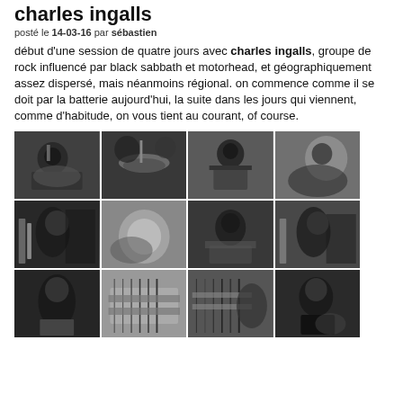charles ingalls
posté le 14-03-16 par sébastien
début d'une session de quatre jours avec charles ingalls, groupe de rock influencé par black sabbath et motorhead, et géographiquement assez dispersé, mais néanmoins régional. on commence comme il se doit par la batterie aujourd'hui, la suite dans les jours qui viennent, comme d'habitude, on vous tient au courant, of course.
[Figure (photo): Grid of 12 black and white photographs showing musicians recording in a studio — drummers playing drum kits, guitarists with instruments, close-up shots of hands on guitar strings, musicians wearing headphones.]